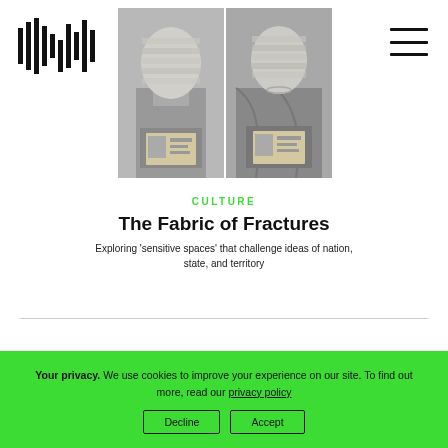[Figure (logo): Waveform/barcode style logo made of vertical bars]
[Figure (photo): Two black and white photos side by side: bandaged figures holding identity documents]
CULTURE
The Fabric of Fractures
Exploring 'sensitive spaces' that challenge ideas of nation, state, and territory
Your privacy. We use cookies to improve your experience on our site. To find out more, read our privacy policy
Decline
Accept